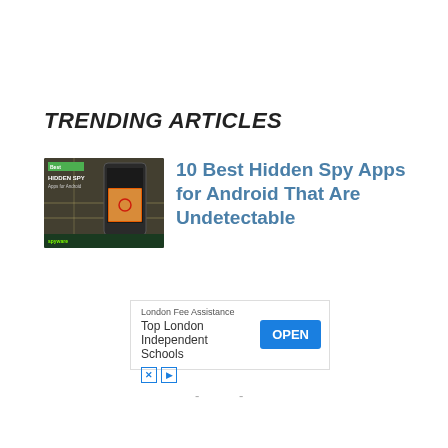TRENDING ARTICLES
[Figure (screenshot): Thumbnail image for article about hidden spy apps for Android, showing a phone with map background and 'Best Hidden Spy Apps for Android' text overlay]
10 Best Hidden Spy Apps for Android That Are Undetectable
[Figure (screenshot): Advertisement banner: London Fee Assistance - Top London Independent Schools with OPEN button]
- -